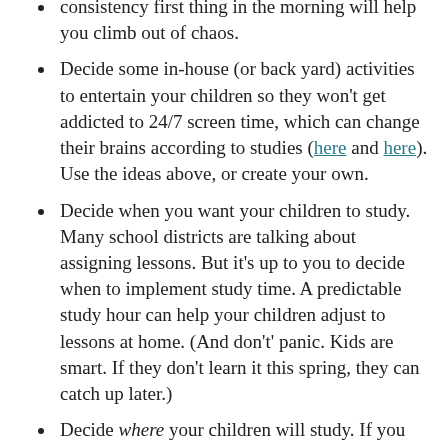consistency first thing in the morning will help you climb out of chaos.
Decide some in-house (or back yard) activities to entertain your children so they won't get addicted to 24/7 screen time, which can change their brains according to studies (here and here). Use the ideas above, or create your own.
Decide when you want your children to study. Many school districts are talking about assigning lessons. But it's up to you to decide when to implement study time. A predictable study hour can help your children adjust to lessons at home. (And don't' panic. Kids are smart. If they don't learn it this spring, they can catch up later.)
Decide where your children will study. If you establish a consistent place for their homework, their new normal will begin to develop.
Decide on a fairly routine lunch menu. You don't